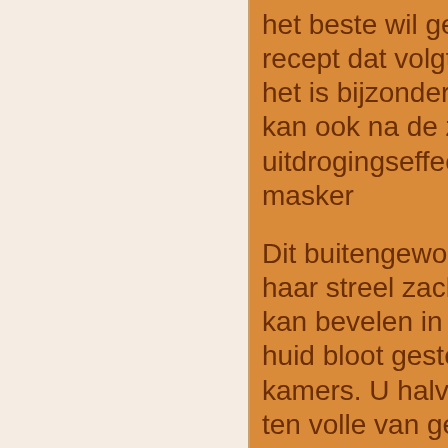het beste wil geven recept dat volgt is e het is bijzonder ges kan ook na de zonn uitdrogingseffect op masker

Dit buitengewoon v haar streel zacht, h kan bevelen in een huid bloot gesteld w kamers. U halveert ten volle van geniet

De andere helft pur